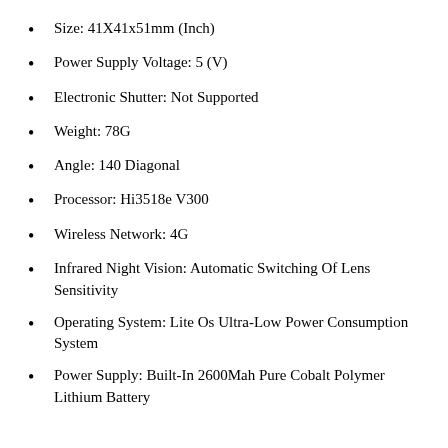Size: 41X41x51mm (Inch)
Power Supply Voltage: 5 (V)
Electronic Shutter: Not Supported
Weight: 78G
Angle: 140 Diagonal
Processor: Hi3518e V300
Wireless Network: 4G
Infrared Night Vision: Automatic Switching Of Lens Sensitivity
Operating System: Lite Os Ultra-Low Power Consumption System
Power Supply: Built-In 2600Mah Pure Cobalt Polymer Lithium Battery